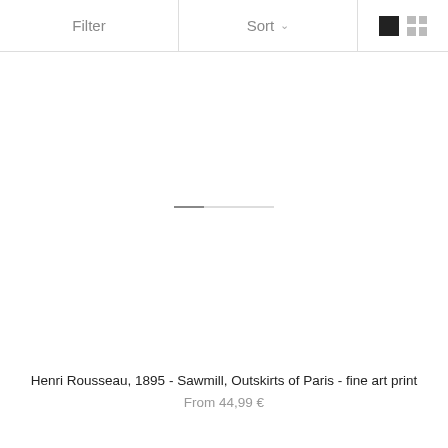Filter    Sort ▾
[Figure (other): Product image area with loading indicator bar (image not loaded), showing a horizontal progress/loading bar in the center of white space]
Henri Rousseau, 1895 - Sawmill, Outskirts of Paris - fine art print
From 44,99 €